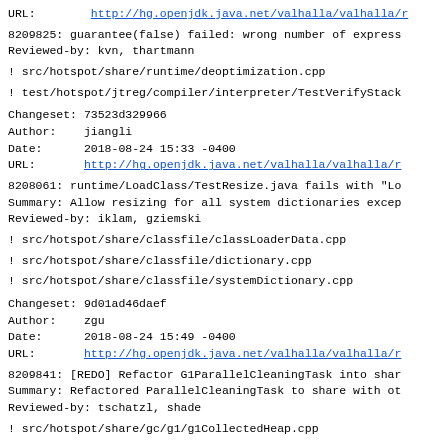URL:        http://hg.openjdk.java.net/valhalla/valhalla/r
8209825: guarantee(false) failed: wrong number of express
Reviewed-by: kvn, thartmann
! src/hotspot/share/runtime/deoptimization.cpp
! test/hotspot/jtreg/compiler/interpreter/TestVerifyStack
Changeset: 73523d329966
Author:    jiangli
Date:      2018-08-24 15:33 -0400
URL:       http://hg.openjdk.java.net/valhalla/valhalla/r
8208061: runtime/LoadClass/TestResize.java fails with "Lo
Summary: Allow resizing for all system dictionaries excep
Reviewed-by: iklam, gziemski
! src/hotspot/share/classfile/classLoaderData.cpp
! src/hotspot/share/classfile/dictionary.cpp
! src/hotspot/share/classfile/systemDictionary.cpp
Changeset: 9d01ad46daef
Author:    zgu
Date:      2018-08-24 15:49 -0400
URL:       http://hg.openjdk.java.net/valhalla/valhalla/r
8209841: [REDO] Refactor G1ParallelCleaningTask into shar
Summary: Refactored ParallelCleaningTask to share with ot
Reviewed-by: tschatzl, shade
! src/hotspot/share/gc/g1/g1CollectedHeap.cpp